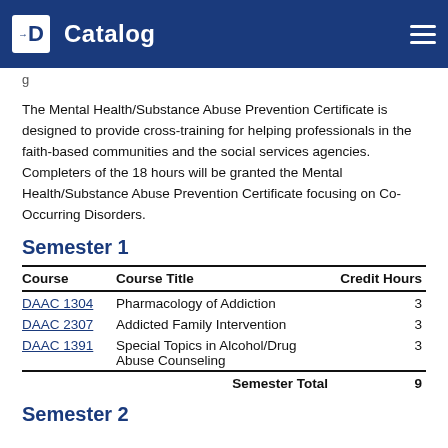Catalog
The Mental Health/Substance Abuse Prevention Certificate is designed to provide cross-training for helping professionals in the faith-based communities and the social services agencies. Completers of the 18 hours will be granted the Mental Health/Substance Abuse Prevention Certificate focusing on Co-Occurring Disorders.
Semester 1
| Course | Course Title | Credit Hours |
| --- | --- | --- |
| DAAC 1304 | Pharmacology of Addiction | 3 |
| DAAC 2307 | Addicted Family Intervention | 3 |
| DAAC 1391 | Special Topics in Alcohol/Drug Abuse Counseling | 3 |
|  | Semester Total | 9 |
Semester 2